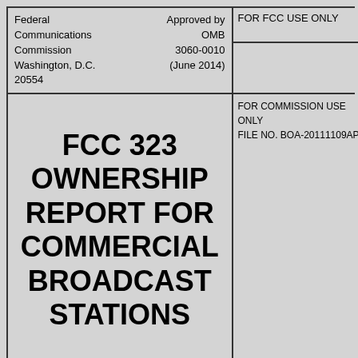Federal Communications Commission Washington, D.C. 20554
Approved by OMB 3060-0010 (June 2014)
FOR FCC USE ONLY
FCC 323 OWNERSHIP REPORT FOR COMMERCIAL BROADCAST STATIONS
FOR COMMISSION USE ONLY FILE NO. BOA-20111109API
Section I - General Information